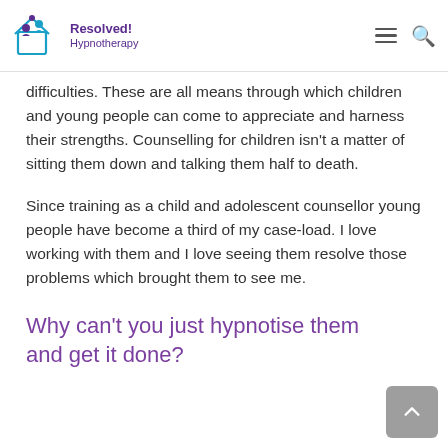Resolved! Hypnotherapy
difficulties. These are all means through which children and young people can come to appreciate and harness their strengths. Counselling for children isn’t a matter of sitting them down and talking them half to death.
Since training as a child and adolescent counsellor young people have become a third of my case-load. I love working with them and I love seeing them resolve those problems which brought them to see me.
Why can’t you just hypnotise them and get it done?